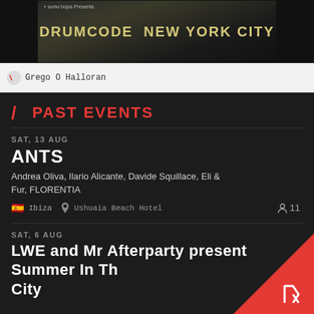[Figure (photo): Drumcode New York City banner image with cityscape background]
Grego O Halloran
PAST EVENTS
SAT, 13 AUG
ANTS
Andrea Oliva, Ilario Alicante, Davide Squillace, Eli & Fur, FLORENTIA
Ibiza  Ushuaia Beach Hotel  11
SAT, 6 AUG
LWE and Mr Afterparty present Summer In The City